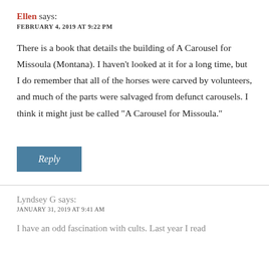Ellen says:
FEBRUARY 4, 2019 AT 9:22 PM
There is a book that details the building of A Carousel for Missoula (Montana). I haven’t looked at it for a long time, but I do remember that all of the horses were carved by volunteers, and much of the parts were salvaged from defunct carousels. I think it might just be called “A Carousel for Missoula.”
Reply
Lyndsey G says:
JANUARY 31, 2019 AT 9:41 AM
I have an odd fascination with cults. Last year I read